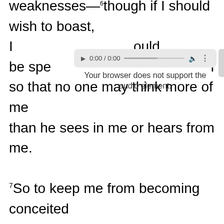weaknesses—though if I should wish to boast, I would not be a fool, for I would be speaking the truth; but I refrain from it, so that no one may think more of me than he sees in me or hears from me. So to keep me from becoming conceited because of the surpassing greatness of the revelations, a thorn was given me in the flesh, a messenger of Satan to harass me, to keep me from becoming conceited. Three times I pleaded with
[Figure (screenshot): Audio player overlay showing '0:00 / 0:00' with play button, progress bar, volume icon, and menu dots. Below it shows 'Your browser does not support the audio element.']